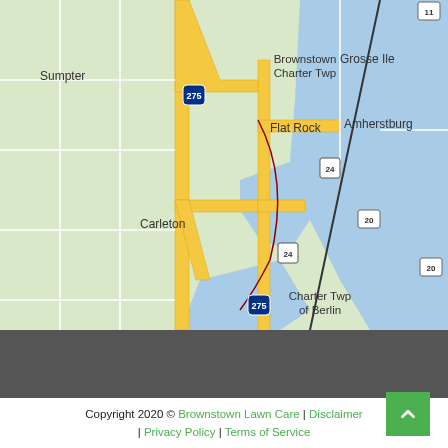[Figure (map): Google Maps view showing Brownstown Charter Twp, Flat Rock, Carleton, Grosse Ile, Amherstburg, Charter Twp of Berlin, Steiner area in Michigan/Ontario. Shows highways 275, 24, and route 20, with a river/lake (Detroit River/Lake Erie area) in blue on the right side.]
Copyright 2020 © Brownstown Lawn Care | Disclaimer | Privacy Policy | Terms of Service